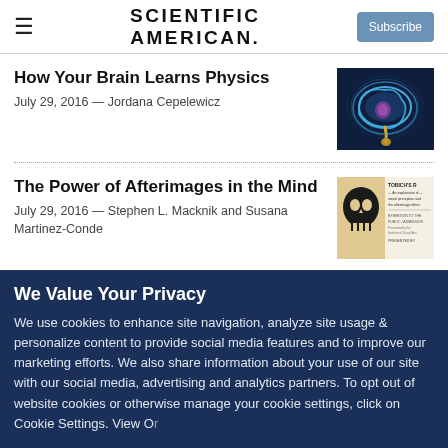SCIENTIFIC AMERICAN
How Your Brain Learns Physics
July 29, 2016 — Jordana Cepelewicz
[Figure (photo): Glowing blue brain illustration on dark background]
The Power of Afterimages in the Mind
July 29, 2016 — Stephen L. Macknik and Susana Martinez-Conde
[Figure (photo): Black and white afterimage illustration with vintage poster]
We Value Your Privacy
We use cookies to enhance site navigation, analyze site usage & personalize content to provide social media features and to improve our marketing efforts. We also share information about your use of our site with our social media, advertising and analytics partners. To opt out of website cookies or otherwise manage your cookie settings, click on Cookie Settings. View Our